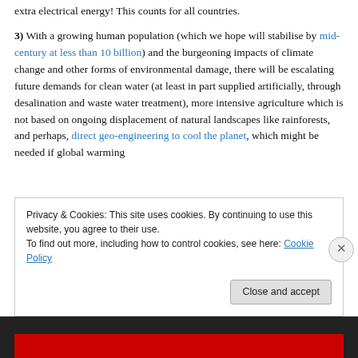extra electrical energy! This counts for all countries.
3) With a growing human population (which we hope will stabilise by mid-century at less than 10 billion) and the burgeoning impacts of climate change and other forms of environmental damage, there will be escalating future demands for clean water (at least in part supplied artificially, through desalination and waste water treatment), more intensive agriculture which is not based on ongoing displacement of natural landscapes like rainforests, and perhaps, direct geo-engineering to cool the planet, which might be needed if global warming
Privacy & Cookies: This site uses cookies. By continuing to use this website, you agree to their use.
To find out more, including how to control cookies, see here: Cookie Policy
Close and accept